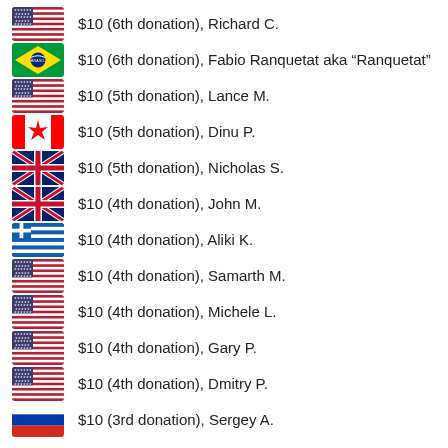$10 (6th donation), Richard C.
$10 (6th donation), Fabio Ranquetat aka “Ranquetat”
$10 (5th donation), Lance M.
$10 (5th donation), Dinu P.
$10 (5th donation), Nicholas S.
$10 (4th donation), John M.
$10 (4th donation), Aliki K.
$10 (4th donation), Samarth M.
$10 (4th donation), Michele L.
$10 (4th donation), Gary P.
$10 (4th donation), Dmitry P.
$10 (3rd donation), Sergey A.